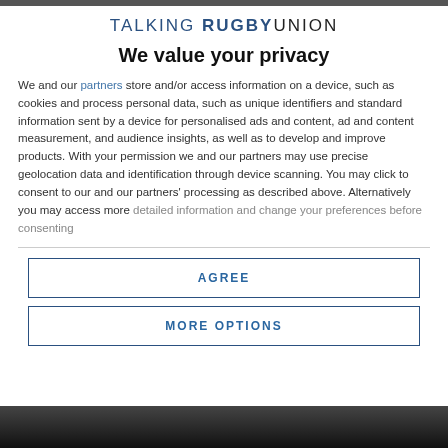[Figure (logo): Talking Rugby Union logo — 'TALKING' in blue, 'RUGBY' in bold dark blue, 'UNION' in dark — all uppercase with letter-spacing]
We value your privacy
We and our partners store and/or access information on a device, such as cookies and process personal data, such as unique identifiers and standard information sent by a device for personalised ads and content, ad and content measurement, and audience insights, as well as to develop and improve products. With your permission we and our partners may use precise geolocation data and identification through device scanning. You may click to consent to our and our partners' processing as described above. Alternatively you may access more detailed information and change your preferences before consenting
AGREE
MORE OPTIONS
[Figure (photo): Dark photograph visible at the bottom of the page]